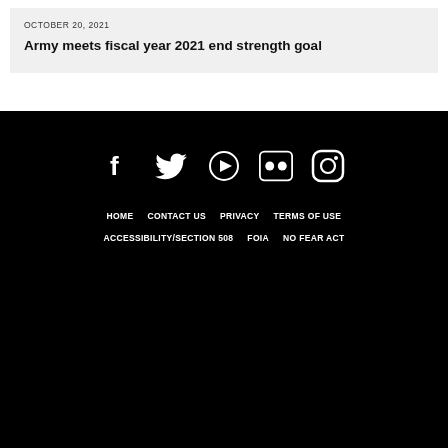OCTOBER 20, 2021
Army meets fiscal year 2021 end strength goal
[Figure (other): Social media icons row: Facebook, Twitter, YouTube, Flickr, Instagram — white icons on black background]
HOME   CONTACT US   PRIVACY   TERMS OF USE   ACCESSIBILITY/SECTION 508   FOIA   NO FEAR ACT